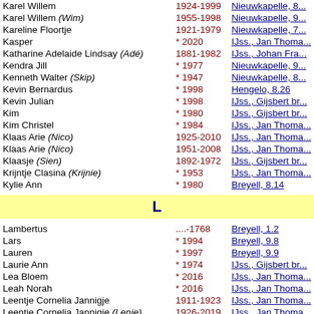| Name | Years | Reference |
| --- | --- | --- |
| Karel Willem | 1924-1999 | Nieuwkapelle, 8... |
| Karel Willem (Wim) | 1955-1998 | Nieuwkapelle, 9... |
| Kareline Floortje | 1921-1979 | Nieuwkapelle, 7... |
| Kasper | * 2020 | IJss., Jan Thoma... |
| Katharine Adelaide Lindsay (Adé) | 1881-1982 | IJss., Johan Fra... |
| Kendra Jill | * 1977 | Nieuwkapelle, 9... |
| Kenneth Walter (Skip) | * 1947 | Nieuwkapelle, 8... |
| Kevin Bernardus | * 1998 | Hengelo, 8.26 |
| Kevin Julian | * 1998 | IJss., Gijsbert br... |
| Kim | * 1980 | IJss., Gijsbert br... |
| Kim Christel | * 1984 | IJss., Jan Thoma... |
| Klaas Arie (Nico) | 1925-2010 | IJss., Jan Thoma... |
| Klaas Arie (Nico) | 1951-2008 | IJss., Jan Thoma... |
| Klaasje (Sien) | 1892-1972 | IJss., Gijsbert br... |
| Krijntje Clasina (Krijnie) | * 1953 | IJss., Jan Thoma... |
| Kylie Ann | * 1980 | Breyell, 8.14 |
L
| Name | Years | Reference |
| --- | --- | --- |
| Lambertus | ....-1768 | Breyell, 1.2 |
| Lars | * 1994 | Breyell, 9.8 |
| Lauren | * 1997 | Breyell, 9.9 |
| Laurie Ann | * 1974 | IJss., Gijsbert br... |
| Lea Bloem | * 2016 | IJss., Jan Thoma... |
| Leah Norah | * 2016 | IJss., Jan Thoma... |
| Leentje Cornelia Jannigje | 1911-1923 | IJss., Jan Thoma... |
| Leentje Cornelia Jannigje (Lenie) | 1926-2019 | IJss., Jan Thoma... |
| Leentje Neeltje | * 1952 | IJss., Jan Thoma... |
| Leijsabet | 1673-17.. | IJss., oldest gen... |
| Leonie Adèle | * 1951 | Hengelo, 7.8 |